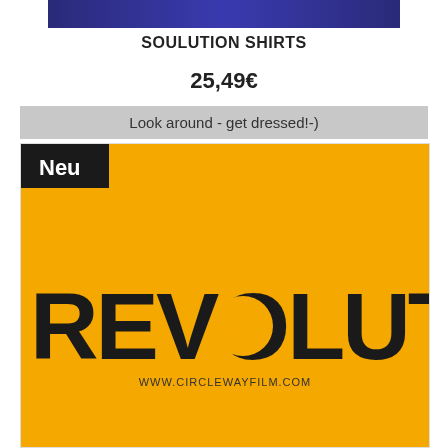[Figure (photo): Top banner image with dark blue/purple background, partially visible at top of page]
SOULUTION SHIRTS
25,49€
Look around - get dressed!-)
[Figure (photo): Product image on yellow/golden background featuring the word REVOLUTION in large bold black letters with stylized lettering, with 'Neu' badge in top-left corner and 'www.circlewayfilm.com' text below the main word]